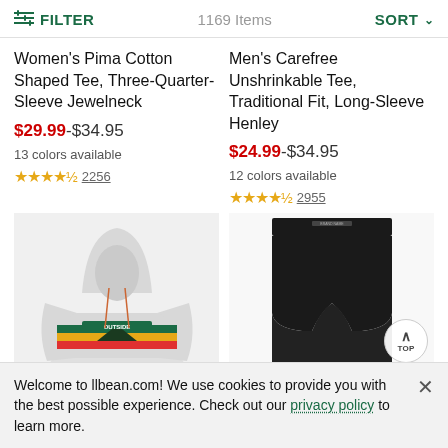FILTER   1169 Items   SORT
Women's Pima Cotton Shaped Tee, Three-Quarter-Sleeve Jewelneck
$29.99-$34.95
13 colors available
★★★★½ 2256
Men's Carefree Unshrinkable Tee, Traditional Fit, Long-Sleeve Henley
$24.99-$34.95
12 colors available
★★★★½ 2955
[Figure (photo): Gray hoodie with 'OUTSIDE' graphic and colorful stripes]
[Figure (photo): Black shorts/skirt garment on white background]
Welcome to llbean.com! We use cookies to provide you with the best possible experience. Check out our privacy policy to learn more.